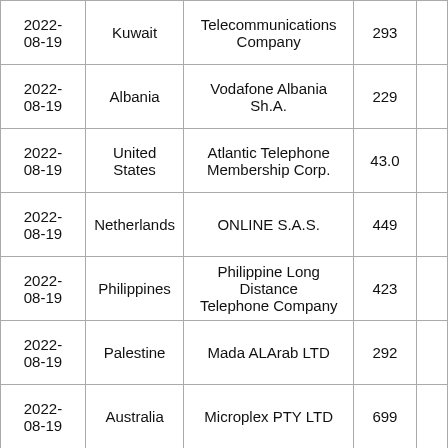| Date | Country | Organization | Number |  |
| --- | --- | --- | --- | --- |
| 2022-08-19 | Kuwait | Telecommunications Company | 293 |  |
| 2022-08-19 | Albania | Vodafone Albania Sh.A. | 229 |  |
| 2022-08-19 | United States | Atlantic Telephone Membership Corp. | 43.0 |  |
| 2022-08-19 | Netherlands | ONLINE S.A.S. | 449 |  |
| 2022-08-19 | Philippines | Philippine Long Distance Telephone Company | 423 |  |
| 2022-08-19 | Palestine | Mada ALArab LTD | 292 |  |
| 2022-08-19 | Australia | Microplex PTY LTD | 699 |  |